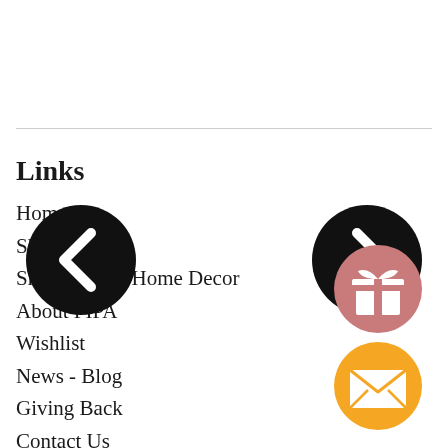Links
Home
Shop For Art
Shop Unique Home Decor
About PIPA
Wishlist
News - Blog
Giving Back
Contact Us
[Figure (illustration): Black circle with left-pointing chevron arrow (back navigation button)]
[Figure (illustration): Black circle with right-pointing chevron arrow (forward navigation button)]
[Figure (illustration): Pink/rose circle with gift box icon (wishlist/gift button)]
[Figure (illustration): Orange circle with envelope/mail icon (contact/email button)]